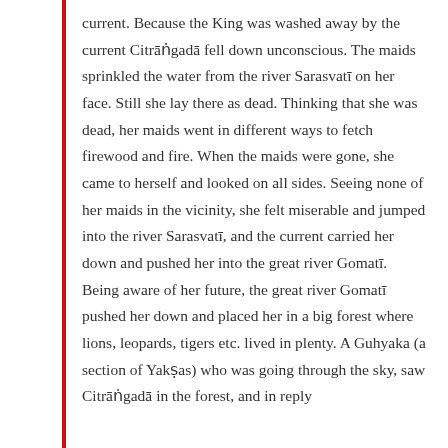current. Because the King was washed away by the current Citrāṅgadā fell down unconscious. The maids sprinkled the water from the river Sarasvatī on her face. Still she lay there as dead. Thinking that she was dead, her maids went in different ways to fetch firewood and fire. When the maids were gone, she came to herself and looked on all sides. Seeing none of her maids in the vicinity, she felt miserable and jumped into the river Sarasvatī, and the current carried her down and pushed her into the great river Gomatī. Being aware of her future, the great river Gomatī pushed her down and placed her in a big forest where lions, leopards, tigers etc. lived in plenty. A Guhyaka (a section of Yakṣas) who was going through the sky, saw Citrāṅgadā in the forest, and in reply